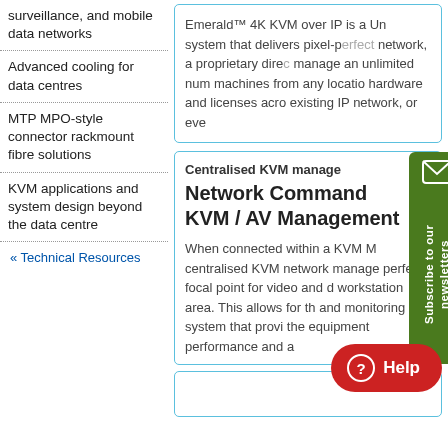surveillance, and mobile data networks
Advanced cooling for data centres
MTP MPO-style connector rackmount fibre solutions
KVM applications and system design beyond the data centre
« Technical Resources
Emerald™ 4K KVM over IP is a Un system that delivers pixel-perfect network, a proprietary direc manage an unlimited num machines from any locatio hardware and licenses acro existing IP network, or eve
Centralised KVM manage
Network Command KVM / AV Management
When connected within a KVM M centralised KVM network manage perfect focal point for video and d workstation area. This allows for th and monitoring system that provi the equipment performance and a